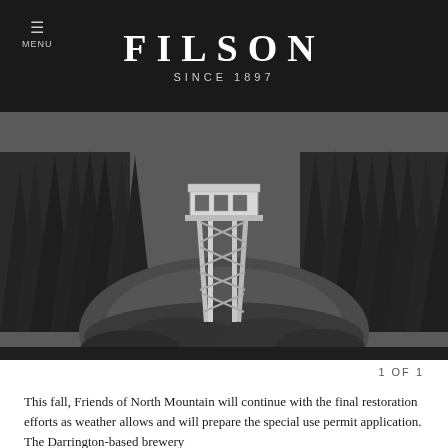FILSON SINCE 1897
[Figure (photo): Black and white aerial photograph of a fire lookout tower on a forested hilltop surrounded by dense evergreen trees]
1 OF 1
This fall, Friends of North Mountain will continue with the final restoration efforts as weather allows and will prepare the special use permit application. The Darrington-based brewery